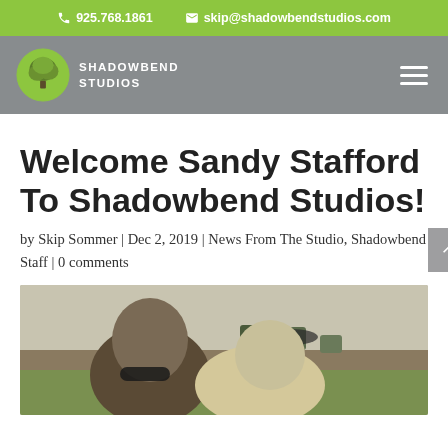925.768.1861   skip@shadowbendstudios.com
[Figure (logo): Shadowbend Studios logo: green circle with tree illustration, text SHADOWBEND STUDIOS in white]
Welcome Sandy Stafford To Shadowbend Studios!
by Skip Sommer | Dec 2, 2019 | News From The Studio, Shadowbend Staff | 0 comments
[Figure (photo): Two people taking a selfie outdoors at a social gathering, with tables, chairs, and people in the background on a lawn]